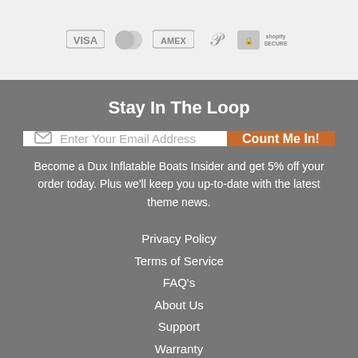[Figure (logo): Payment logos: VISA, Mastercard, AMEX, PayPal, Shopify Secure]
Stay In The Loop
Enter Your Email Address
Count Me In!
Become a Dux Inflatable Boats Insider and get 5% off your order today. Plus we'll keep you up-to-date with the latest theme news.
Privacy Policy
Terms of Service
FAQ's
About Us
Support
Warranty
Contact Us
Refund Policy